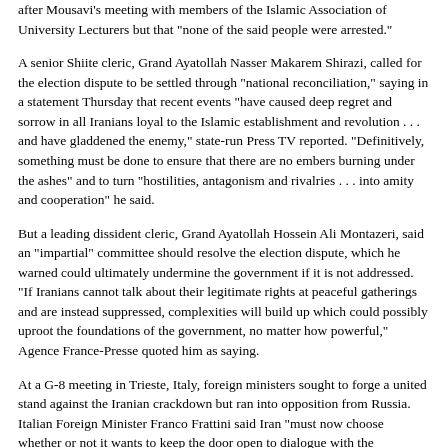after Mousavi's meeting with members of the Islamic Association of University Lecturers but that "none of the said people were arrested."
A senior Shiite cleric, Grand Ayatollah Nasser Makarem Shirazi, called for the election dispute to be settled through "national reconciliation," saying in a statement Thursday that recent events "have caused deep regret and sorrow in all Iranians loyal to the Islamic establishment and revolution . . . and have gladdened the enemy," state-run Press TV reported. "Definitively, something must be done to ensure that there are no embers burning under the ashes" and to turn "hostilities, antagonism and rivalries . . . into amity and cooperation" he said.
But a leading dissident cleric, Grand Ayatollah Hossein Ali Montazeri, said an "impartial" committee should resolve the election dispute, which he warned could ultimately undermine the government if it is not addressed. "If Iranians cannot talk about their legitimate rights at peaceful gatherings and are instead suppressed, complexities will build up which could possibly uproot the foundations of the government, no matter how powerful," Agence France-Presse quoted him as saying.
At a G-8 meeting in Trieste, Italy, foreign ministers sought to forge a united stand against the Iranian crackdown but ran into opposition from Russia. Italian Foreign Minister Franco Frattini said Iran "must now choose whether or not it wants to keep the door open to dialogue with the international community, because the open hand from the United States, that we supported, must not be greeted with a hand covered in blood."